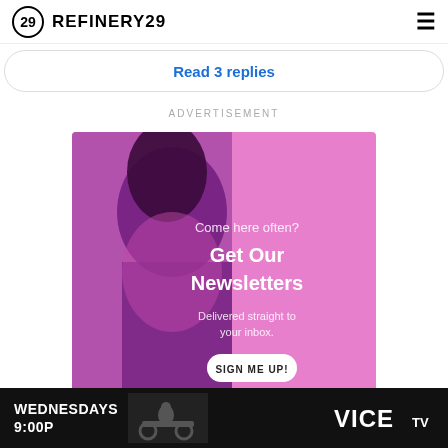REFINERY29
Read 3 replies
ADVERTISEMENT
[Figure (photo): Refinery29 newsletter advertisement featuring a woman with braided hair and glitter makeup on a pink background. Text reads: Come here often? Get Our Newsletters Delivered straight to your inbox. SIGN ME UP!]
[Figure (photo): VICE TV advertisement banner: WEDNESDAYS 9:00P with dark background and motorcycle rider silhouette]